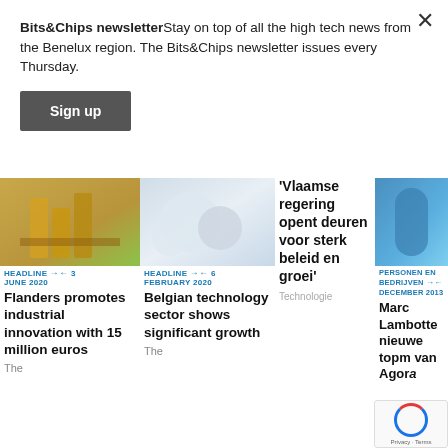Bits&Chips newsletterStay on top of all the high tech news from the Benelux region. The Bits&Chips newsletter issues every Thursday.
Sign up
[Figure (photo): Stack of coins with green background]
HEADLINE ↔ 3 June 2020
Flanders promotes industrial innovation with 15 million euros
The
[Figure (photo): Blurry blue/white spheres on light background]
HEADLINE ↔ 6 February 2020
Belgian technology sector shows significant growth
The
'Vlaamse regering opent deuren voor sterk beleid en groei'
Technologie
[Figure (photo): Blue cylindrical container on blue background]
PERSONEN EN BEDRIJVEN ↔ December 2013
Marc Lambotte nieuwe topm van Agon...